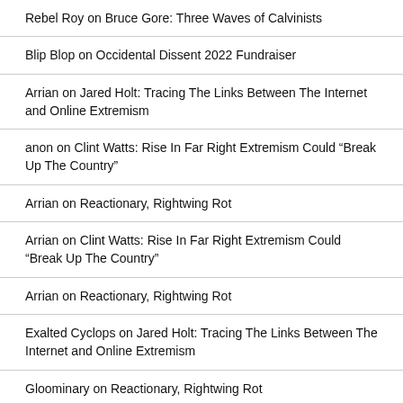Rebel Roy on Bruce Gore: Three Waves of Calvinists
Blip Blop on Occidental Dissent 2022 Fundraiser
Arrian on Jared Holt: Tracing The Links Between The Internet and Online Extremism
anon on Clint Watts: Rise In Far Right Extremism Could “Break Up The Country”
Arrian on Reactionary, Rightwing Rot
Arrian on Clint Watts: Rise In Far Right Extremism Could “Break Up The Country”
Arrian on Reactionary, Rightwing Rot
Exalted Cyclops on Jared Holt: Tracing The Links Between The Internet and Online Extremism
Gloominary on Reactionary, Rightwing Rot
Ivan Turgenev on Ben Shapiro: Joe Biden’s Dark Brandon Speech